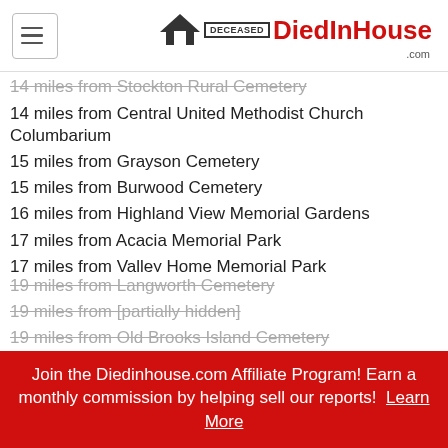DiedInHouse.com
14 miles from Stockton Rural Cemetery
14 miles from Central United Methodist Church Columbarium
15 miles from Grayson Cemetery
15 miles from Burwood Cemetery
16 miles from Highland View Memorial Gardens
17 miles from Acacia Memorial Park
17 miles from Valley Home Memorial Park
17 miles from Patterson District Cemetery
17 miles from Modesto Pioneer Cemetery
17 miles from Modesto County Cemetery
17 miles from Modesto Citizens Cemetery
17 miles from Saint Stanislaus Catholic Cemetery
19 miles from Langworth Cemetery
19 miles from [partially hidden]
19 miles from Old Brooks Island Cemetery
Join the Diedinhouse.com Affiliate Program! Earn a monthly commission by helping sell our reports! Learn More